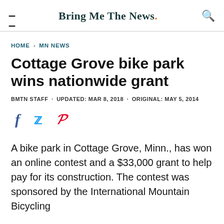Bring Me The News.
HOME › MN NEWS
Cottage Grove bike park wins nationwide grant
BMTN STAFF · UPDATED: MAR 8, 2018 · ORIGINAL: MAY 5, 2014
[Figure (infographic): Social media share icons: Facebook (f), Twitter (bird), Pinterest (p)]
A bike park in Cottage Grove, Minn., has won an online contest and a $33,000 grant to help pay for its construction. The contest was sponsored by the International Mountain Bicycling